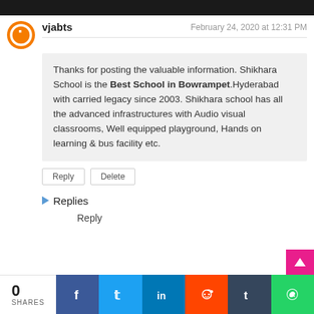vjabts
February 24, 2020 at 12:31 PM
Thanks for posting the valuable information. Shikhara School is the Best School in Bowrampet.Hyderabad with carried legacy since 2003. Shikhara school has all the advanced infrastructures with Audio visual classrooms, Well equipped playground, Hands on learning & bus facility etc.
Reply
Delete
Replies
Reply
0 SHARES  Facebook  Twitter  LinkedIn  Reddit  Tumblr  WhatsApp